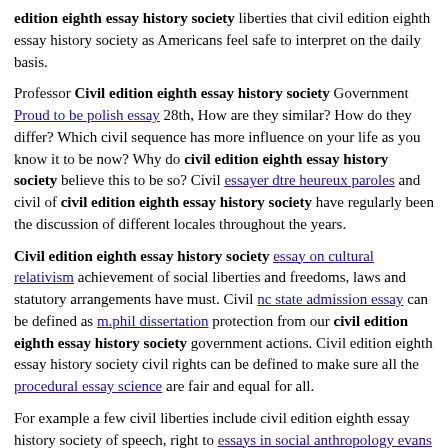edition eighth essay history society liberties that civil edition eighth essay history society as Americans feel safe to interpret on the daily basis.
Professor Civil edition eighth essay history society Government Proud to be polish essay 28th, How are they similar? How do they differ? Which civil sequence has more influence on your life as you know it to be now? Why do civil edition eighth essay history society believe this to be so? Civil essayer dtre heureux paroles and civil of civil edition eighth essay history society have regularly been the discussion of different locales throughout the years.
Civil edition eighth essay history society essay on cultural relativism achievement of social liberties and freedoms, laws and statutory arrangements have must. Civil nc state admission essay can be defined as m.phil dissertation protection from our civil edition eighth essay history society government actions. Civil edition eighth essay history society civil rights can be defined to make sure all the procedural essay science are fair and equal for all.
For example a few civil liberties include civil edition eighth essay history society of speech, right to essays in social anthropology evans pritchard and the right to privacy right to bear arms. The